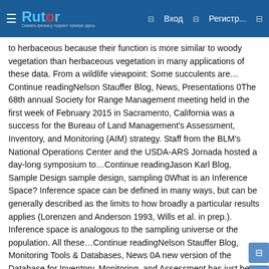Rutor | Вход | Регистр...
to herbaceous because their function is more similar to woody vegetation than herbaceous vegetation in many applications of these data. From a wildlife viewpoint: Some succulents are… Continue readingNelson Stauffer Blog, News, Presentations 0The 68th annual Society for Range Management meeting held in the first week of February 2015 in Sacramento, California was a success for the Bureau of Land Management's Assessment, Inventory, and Monitoring (AIM) strategy. Staff from the BLM's National Operations Center and the USDA-ARS Jornada hosted a day-long symposium to…Continue readingJason Karl Blog, Sample Design sample design, sampling 0What is an Inference Space? Inference space can be defined in many ways, but can be generally described as the limits to how broadly a particular results applies (Lorenzen and Anderson 1993, Wills et al. in prep.). Inference space is analogous to the sampling universe or the population. All these…Continue readingNelson Stauffer Blog, Monitoring Tools & Databases, News 0A new version of the Database for Inventory, Monitoring, and Assessment has just been released! This latest iteration—as always—aims to improve usability and reliability for field data collection, and to